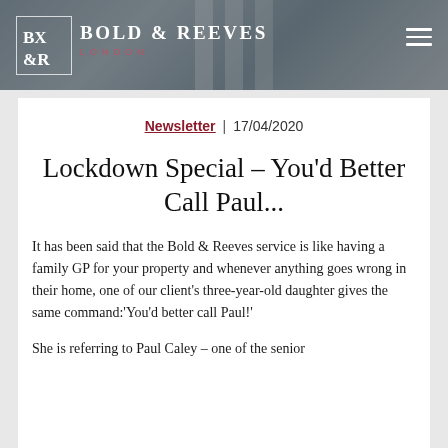Bold & Reeves London
Newsletter | 17/04/2020
Lockdown Special – You'd Better Call Paul...
It has been said that the Bold & Reeves service is like having a family GP for your property and whenever anything goes wrong in their home, one of our client's three-year-old daughter gives the same command:'You'd better call Paul!'
She is referring to Paul Caley – one of the senior